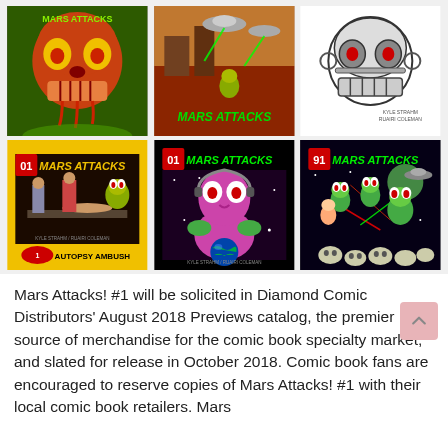[Figure (illustration): A 2x3 grid of Mars Attacks! comic book covers. Top row: green/orange alien skull cover, Mars Attacks scene with buildings and aliens, black-and-white mechanical skull with red eye. Bottom row: Mars Attacks #1 'Autopsy Ambush' with yellow border showing humans being attacked, Mars Attacks #1 showing alien holding Earth globe, Mars Attacks #1 showing alien soldiers flying in space battle.]
Mars Attacks! #1 will be solicited in Diamond Comic Distributors' August 2018 Previews catalog, the premier source of merchandise for the comic book specialty market, and slated for release in October 2018. Comic book fans are encouraged to reserve copies of Mars Attacks! #1 with their local comic book retailers. Mars